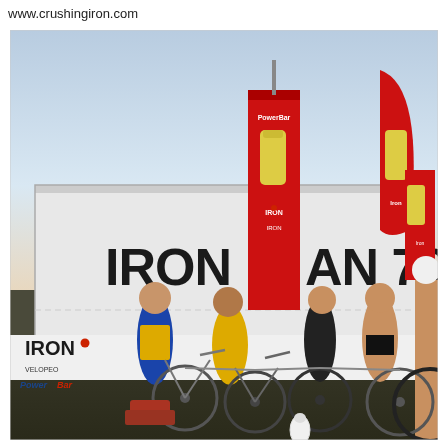www.crushingiron.com
[Figure (photo): Outdoor triathlon transition area scene. Athletes with bicycles standing in front of a large white semi-trailer truck bearing the 'IRONMAN 70.3' logo in large dark letters. Red PowerBar promotional banners and tall feather-flag banners flank the truck. Multiple athletes and bikes are visible in the foreground. The background shows a light blue pre-dawn or early morning sky.]